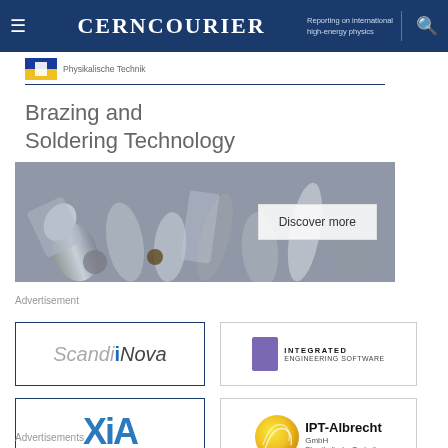CERNCOURIER — Reporting on international high-energy physics
[Figure (advertisement): Advertisement banner for Brazing and Soldering Technology with PTB logo, title text, photo of metallic connectors, and Discover more button]
Advertisement
[Figure (logo): ScandiNova logo in blue/grey italic text]
[Figure (logo): Integrated Engineering Software logo with purple square graphic]
[Figure (logo): XIA logo with blue letters and tagline Instruments That Advance The Art]
[Figure (logo): IPT-Albrecht GmbH Physikalische Technik logo with yellow circle and curve graphic]
Advertisements